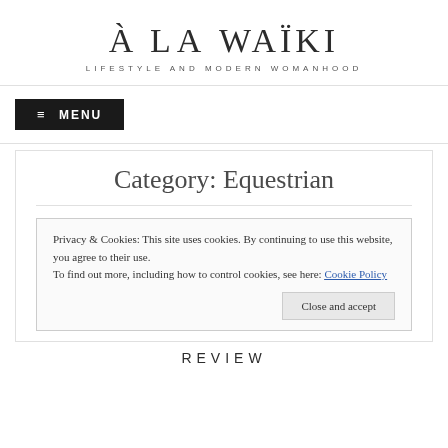À LA WAÏKI
LIFESTYLE AND MODERN WOMANHOOD
≡ MENU
Category: Equestrian
Privacy & Cookies: This site uses cookies. By continuing to use this website, you agree to their use.
To find out more, including how to control cookies, see here: Cookie Policy
Close and accept
REVIEW